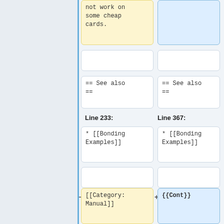[Figure (screenshot): Diff view of a wiki page showing two columns of changes. Left column shows removed content (yellow background), right column shows added content (blue background). Content includes wiki markup for 'See also', Bonding Examples, Category:Manual, Category:QoS, Category:Routing sections.]
not work on some cheap cards.
== See also ==
== See also ==
Line 233:
Line 367:
* [[Bonding Examples]]
* [[Bonding Examples]]
[[Category:Manual]]
{{Cont}}
[[Category:QoS]]
[[Category:Routing]]
[[Category:Manual|B]]